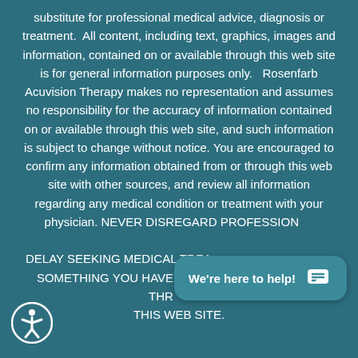substitute for professional medical advice, diagnosis or treatment.  All content, including text, graphics, images and information, contained on or available through this web site is for general information purposes only.   Rosenfarb Acuvision Therapy makes no representation and assumes no responsibility for the accuracy of information contained on or available through this web site, and such information is subject to change without notice. You are encouraged to confirm any information obtained from or through this web site with other sources, and review all information regarding any medical condition or treatment with your physician. NEVER DISREGARD PROFESSIONAL MEDICAL ADVICE OR DELAY SEEKING MEDICAL TREATMENT BECAUSE OF SOMETHING YOU HAVE READ ON OR ACCESSED THROUGH THIS WEB SITE.